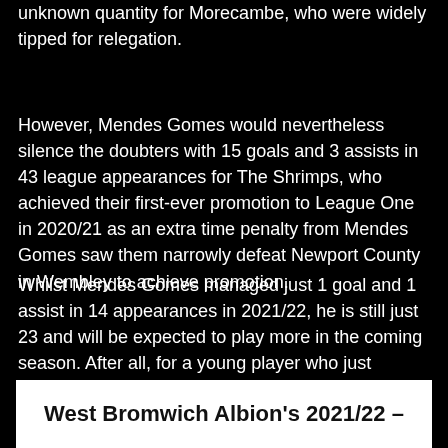unknown quantity for Morecambe, who were widely tipped for relegation.
However, Mendes Gomes would nevertheless silence the doubters with 15 goals and 3 assists in 43 league appearances for The Shrimps, who achieved their first-ever promotion to League One in 2020/21 as an extra time penalty from Mendes Gomes saw them narrowly defeat Newport County in Wembley to achieve promotion.
Whilst Mendes Gomes managed just 1 goal and 1 assist in 14 appearances in 2021/22, he is still just 23 and will be expected to play more in the coming season. After all, for a young player who just arrived at the club, there are few tasks harder than breaking into the team during a promotion push.
West Bromwich Albion's 2021/22 –